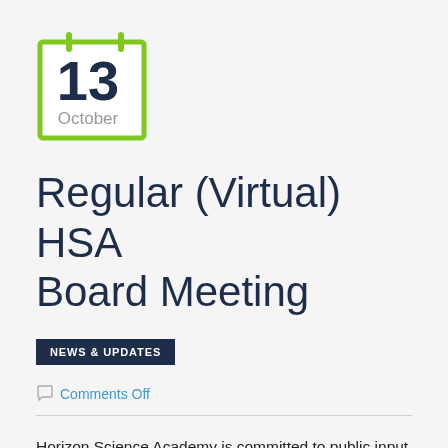[Figure (other): Calendar icon showing the number 13 and the month October, outlined in green]
Regular (Virtual) HSA Board Meeting
NEWS & UPDATES
Comments Off
Horizon Science Academy is committed to public input and participation in school board meetings. Given the current stay at home order in Ohio, we are making available remote